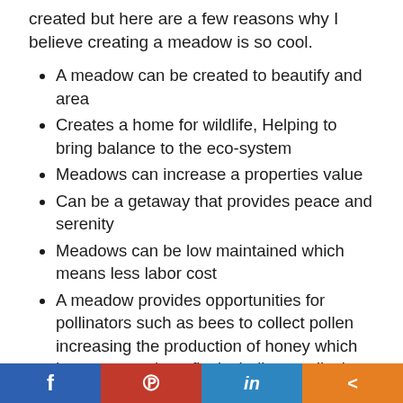created but here are a few reasons why I believe creating a meadow is so cool.
A meadow can be created to beautify and area
Creates a home for wildlife, Helping to bring balance to the eco-system
Meadows can increase a properties value
Can be a getaway that provides peace and serenity
Meadows can be low maintained which means less labor cost
A meadow provides opportunities for pollinators such as bees to collect pollen increasing the production of honey which has so many benefits including medical uses.
f  p  in  share icons (Facebook, Pinterest, LinkedIn, Share social bar)